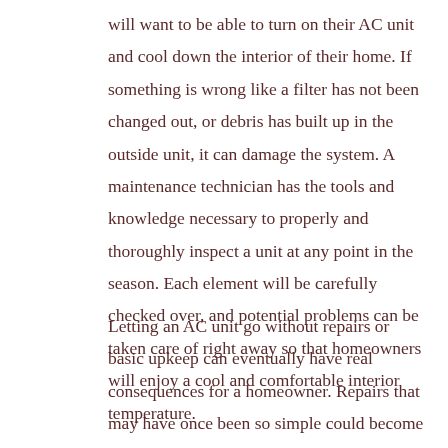will want to be able to turn on their AC unit and cool down the interior of their home. If something is wrong like a filter has not been changed out, or debris has built up in the outside unit, it can damage the system. A maintenance technician has the tools and knowledge necessary to properly and thoroughly inspect a unit at any point in the season. Each element will be carefully checked over, and potential problems can be taken care of right away so that homeowners will enjoy a cool and comfortable interior temperature.
Letting an AC unit go without repairs or basic upkeep can eventually have real consequences for a homeowner. Repairs that may have once been so simple could become quite costly as time goes on. Reliable air conditioning